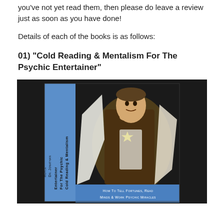you've not yet read them, then please do leave a review just as soon as you have done!
Details of each of the books is as follows:
01) “Cold Reading & Mentalism For The Psychic Entertainer”
[Figure (photo): Photo of the book 'Cold Reading & Mentalism For The Psychic Entertainer' by Dr. Jonathan Royle, showing the book cover with a man in a vest/cape costume. The spine reads 'Cold Reading & Mentalism For The Psychic Entertainer' and 'Dr. Jonathan Royle'. The bottom of the cover reads 'How To Tell Fortunes, Read Minds & Work Psychic Miracles'.]